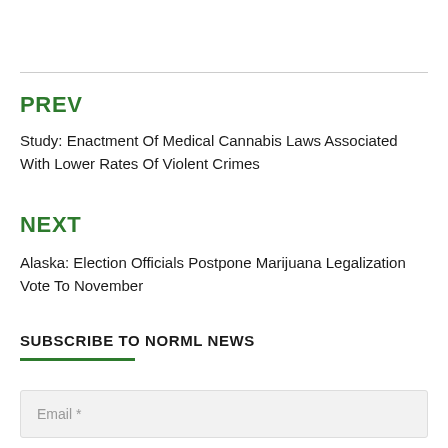PREV
Study: Enactment Of Medical Cannabis Laws Associated With Lower Rates Of Violent Crimes
NEXT
Alaska: Election Officials Postpone Marijuana Legalization Vote To November
SUBSCRIBE TO NORML NEWS
Email *